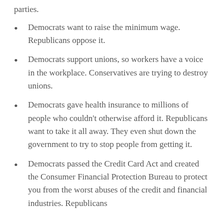parties.
Democrats want to raise the minimum wage. Republicans oppose it.
Democrats support unions, so workers have a voice in the workplace. Conservatives are trying to destroy unions.
Democrats gave health insurance to millions of people who couldn't otherwise afford it. Republicans want to take it all away. They even shut down the government to try to stop people from getting it.
Democrats passed the Credit Card Act and created the Consumer Financial Protection Bureau to protect you from the worst abuses of the credit and financial industries. Republicans